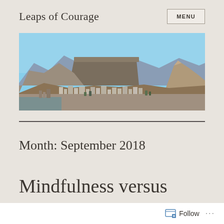Leaps of Courage
[Figure (photo): Panoramic photograph of Cape Town cityscape with Table Mountain in the background under a clear blue sky]
Month: September 2018
Mindfulness versus
Follow ...